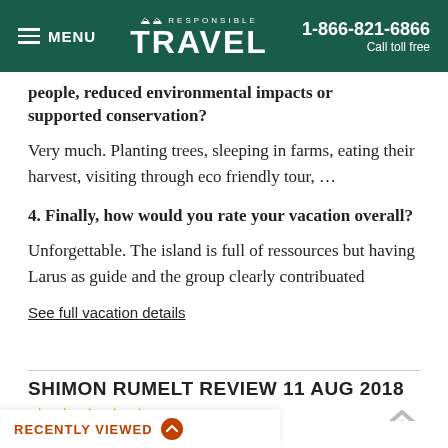MENU | RESPONSIBLE TRAVEL | 1-866-821-6866 Call toll free
people, reduced environmental impacts or supported conservation?
Very much. Planting trees, sleeping in farms, eating their harvest, visiting through eco friendly tour, ...
4. Finally, how would you rate your vacation overall?
Unforgettable. The island is full of ressources but having Larus as guide and the group clearly contribuated
See full vacation details
SHIMON RUMELT REVIEW 11 AUG 2018
★★★★★
RECENTLY VIEWED
morable or exciting part